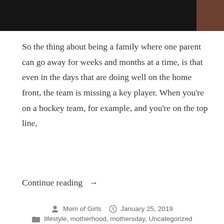[Figure (photo): Dark photo bar at top of page, partially visible image with dark and brown tones]
So the thing about being a family where one parent can go away for weeks and months at a time, is that even in the days that are doing well on the home front, the team is missing a key player. When you're on a hockey team, for example, and you're on the top line,
Continue reading →
Mom of Girls   January 25, 2019
lifestyle, motherhood, mothersday, Uncategorized
blog, blog life, blog mom, blogger, blogging, children, community, connection, conversations, coping, family, friendship, global family, goals, gratitude, health, journey, kids, lifestyle, lifestyle blog, live well, mental fitness, mental health, mom blog, mom life, momblog, momday, momday motivation, motherhood, motivation, new post, oprah, parenting, physical fitness, positivity,